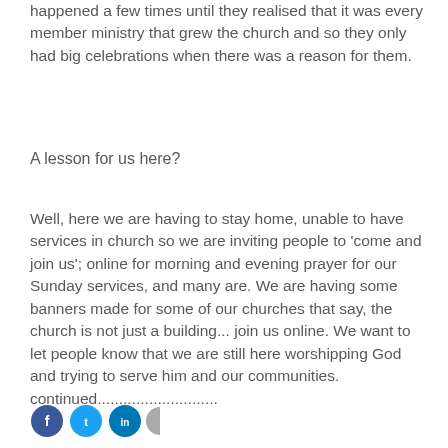happened a few times until they realised that it was every member ministry that grew the church and so they only had big celebrations when there was a reason for them.
A lesson for us here?
Well, here we are having to stay home, unable to have services in church so we are inviting people to 'come and join us'; online for morning and evening prayer for our Sunday services, and many are. We are having some banners made for some of our churches that say, the church is not just a building... join us online. We want to let people know that we are still here worshipping God and trying to serve him and our communities. continued............................
[Figure (other): Four social media icon circles: dark blue (Facebook), light blue (Twitter), dark blue/navy, and grey]